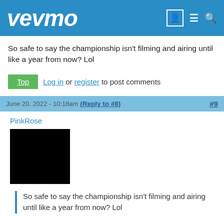vevmo
So safe to say the championship isn't filming and airing until like a year from now? Lol
Top | Log in or register to post comments
June 20, 2022 - 10:18am (Reply to #8) #9
PinkRose
[Figure (photo): Black square avatar image]
So safe to say the championship isn't filming and airing until like a year from now? Lol